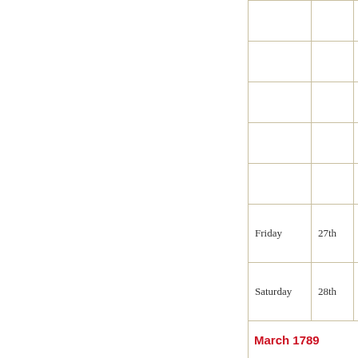| Day | Date | Wind |
| --- | --- | --- |
|  |  |  |
|  |  |  |
|  |  |  |
|  |  |  |
| Friday | 27th | SW |
| Saturday | 28th | D° |
March 1789